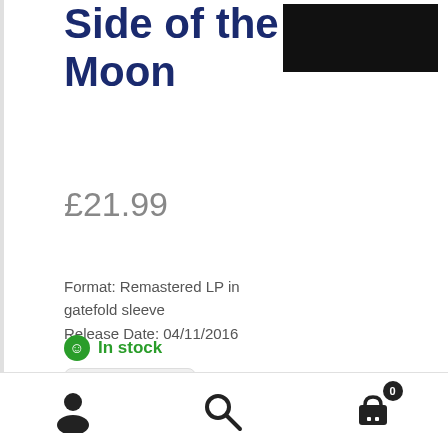Side of the Moon
[Figure (photo): Product image - black rectangle representing album art thumbnail]
£21.99
Format: Remastered LP in gatefold sleeve
Release Date: 04/11/2016
In stock
1
[Figure (other): Bottom navigation bar with user account icon, search icon, and shopping cart icon with badge showing 0]